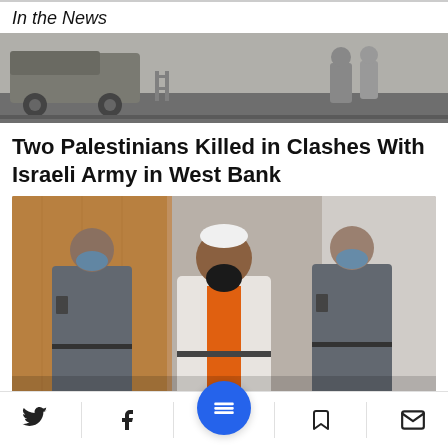In the News
[Figure (photo): Top photograph showing a military vehicle and soldiers in an outdoor scene, grayscale/muted tones]
Two Palestinians Killed in Clashes With Israeli Army in West Bank
[Figure (photo): Photograph of a man in white robe and orange vest with white cap, wearing a beard, flanked by two Israeli police officers in grey uniform with blue masks, inside a courtroom with wood paneling]
Navigation bar with Twitter, Facebook, menu, bookmark, and email icons